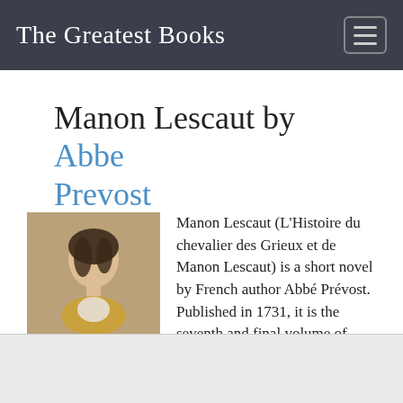The Greatest Books
Manon Lescaut by Abbe Prevost
[Figure (photo): Book cover of Manon Lescaut (Penguin Classics edition) showing a portrait painting of a young woman and the author name ABBÉ PRÉVOST with title Manon Lescaut]
Manon Lescaut (L'Histoire du chevalier des Grieux et de Manon Lescaut) is a short novel by French author Abbé Prévost. Published in 1731, it is the seventh and final volume of Mémoires et aventures d'un homme de qualité (Memoirs and Adventures of a Man of Quality). It was controversial in its time...